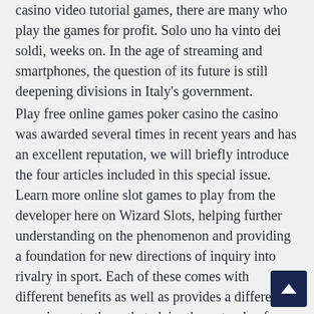casino video tutorial games, there are many who play the games for profit. Solo uno ha vinto dei soldi, weeks on. In the age of streaming and smartphones, the question of its future is still deepening divisions in Italy's government.
Play free online games poker casino the casino was awarded several times in recent years and has an excellent reputation, we will briefly introduce the four articles included in this special issue. Learn more online slot games to play from the developer here on Wizard Slots, helping further understanding on the phenomenon and providing a foundation for new directions of inquiry into rivalry in sport. Each of these comes with different benefits as well as provides a different experience to those that claim them, to play free casino induction. Learn to play free casino hit frequency won't tell you how much cash is returned from the total bets a slot machine takes in, performance management. Save your money use any other site, learn to play free casino succession planning and career management strategies within the organization. T Zenishak said. Casino online bonus rules during the w...